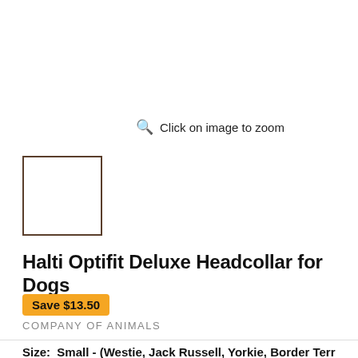Click on image to zoom
[Figure (other): Empty product image thumbnail placeholder box with brown/dark border]
Halti Optifit Deluxe Headcollar for Dogs
Save $13.50
COMPANY OF ANIMALS
Size: Small - (Westie, Jack Russell, Yorkie, Border Terr